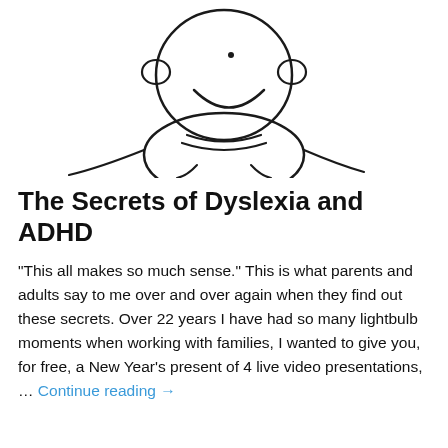[Figure (illustration): A simple hand-drawn sketch of a childlike figure (monkey or person) showing a round head with ears, curved smile, dot eye, a striped collar/neck area, and arms extending outward, drawn in black ink on white background.]
The Secrets of Dyslexia and ADHD
"This all makes so much sense." This is what parents and adults say to me over and over again when they find out these secrets. Over 22 years I have had so many lightbulb moments when working with families, I wanted to give you, for free, a New Year's present of 4 live video presentations, … Continue reading →